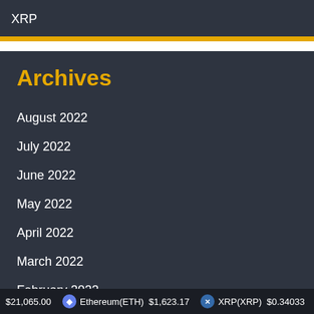XRP
Archives
August 2022
July 2022
June 2022
May 2022
April 2022
March 2022
February 2022
January 2022
$21,065.00  Ethereum(ETH) $1,623.17  XRP(XRP) $0.34033